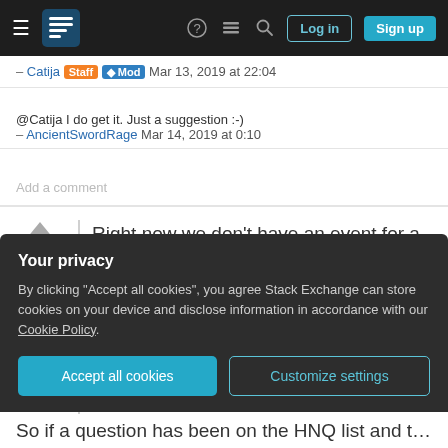Stack Exchange navigation bar with hamburger menu, logo, help icon, chat icon, search icon, Log in and Sign up buttons
– Catija [Staff] [Mod] Mar 13, 2019 at 22:04
@Catija I do get it. Just a suggestion :-)
– AncientSwordRage Mar 14, 2019 at 0:10
Add a comment
Right now we don't have an event for a post dropping off the list. The concern with this is that questions right on the edge of the list may pop on and off the list several times, as frequently as every fifteen
Your privacy
By clicking "Accept all cookies", you agree Stack Exchange can store cookies on your device and disclose information in accordance with our Cookie Policy.
Accept all cookies
Customize settings
So if a question has been on the HNQ list and then